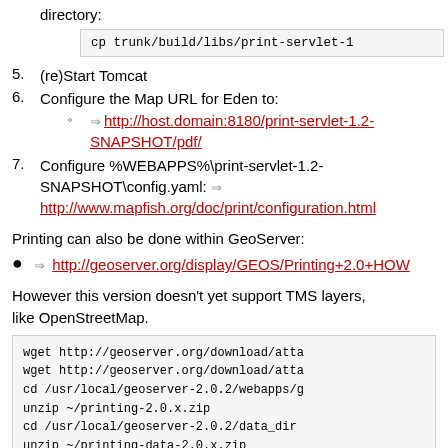directory:
cp trunk/build/libs/print-servlet-1
5. (re)Start Tomcat
6. Configure the Map URL for Eden to: ⇒http://host.domain:8180/print-servlet-1.2-SNAPSHOT/pdf/
7. Configure %WEBAPPS%\print-servlet-1.2-SNAPSHOT\config.yaml: ⇒ http://www.mapfish.org/doc/print/configuration.html
Printing can also be done within GeoServer:
⇒ http://geoserver.org/display/GEOS/Printing+2.0+HOW
However this version doesn't yet support TMS layers, like OpenStreetMap.
wget http://geoserver.org/download/atta
wget http://geoserver.org/download/atta
cd /usr/local/geoserver-2.0.2/webapps/g
unzip ~/printing-2.0.x.zip
cd /usr/local/geoserver-2.0.2/data_dir
unzip ~/printing-data-2.0.x.zip